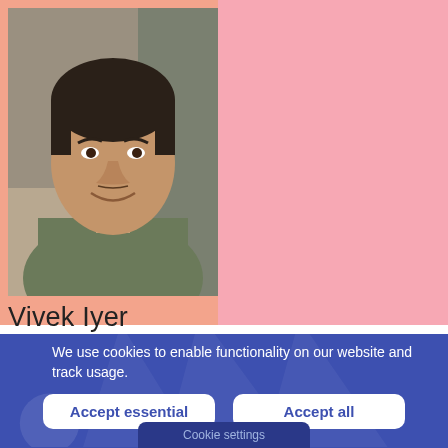[Figure (photo): Headshot photo of a middle-aged man with dark hair, smiling, wearing a plaid shirt, set against an orange-pink background]
Vivek Iyer
We use cookies to enable functionality on our website and track usage.
Accept essential
Accept all
Cookie settings